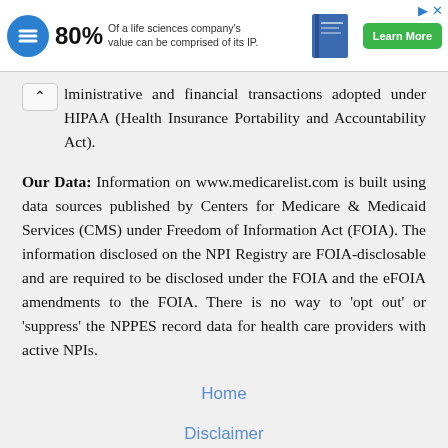[Figure (other): Advertisement banner: circular blue logo with 80% text, tagline 'Of a life sciences company's value can be comprised of its IP.', book image, green 'Learn More' button, blue X close icon.]
lministrative and financial transactions adopted under HIPAA (Health Insurance Portability and Accountability Act).
Our Data: Information on www.medicarelist.com is built using data sources published by Centers for Medicare & Medicaid Services (CMS) under Freedom of Information Act (FOIA). The information disclosed on the NPI Registry are FOIA-disclosable and are required to be disclosed under the FOIA and the eFOIA amendments to the FOIA. There is no way to 'opt out' or 'suppress' the NPPES record data for health care providers with active NPIs.
Home
Disclaimer
Privacy Policy